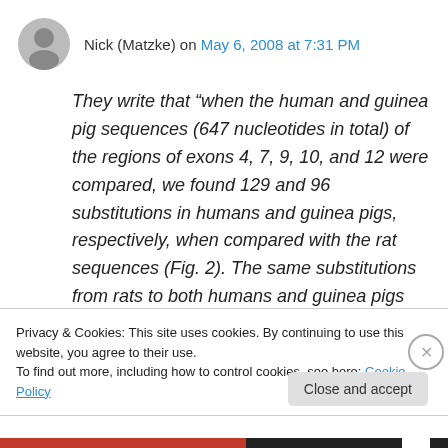Nick (Matzke) on May 6, 2008 at 7:31 PM
They write that “when the human and guinea pig sequences (647 nucleotides in total) of the regions of exons 4, 7, 9, 10, and 12 were compared, we found 129 and 96 substitutions in humans and guinea pigs, respectively, when compared with the rat sequences (Fig. 2). The same substitutions from rats to both humans and guinea pigs occurred at 47 nucleotide positions
Privacy & Cookies: This site uses cookies. By continuing to use this website, you agree to their use.
To find out more, including how to control cookies, see here: Cookie Policy